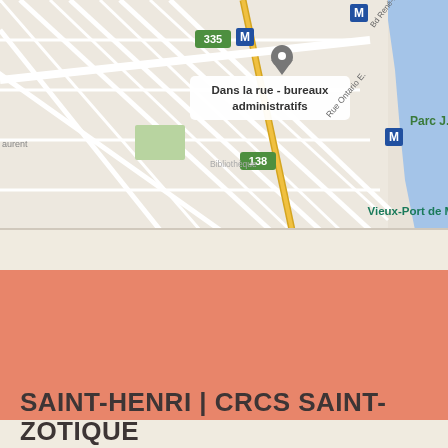[Figure (map): Street map of Montreal showing Dans la rue - bureaux administratifs location near Vieux-Port de Montréal, with metro stations marked M, route numbers 335, 138, 136, Rue Ontario E., Bd René-Lévesque E., and Parc J. visible]
SAINT-HENRI | CRCS SAINT-ZOTIQUE